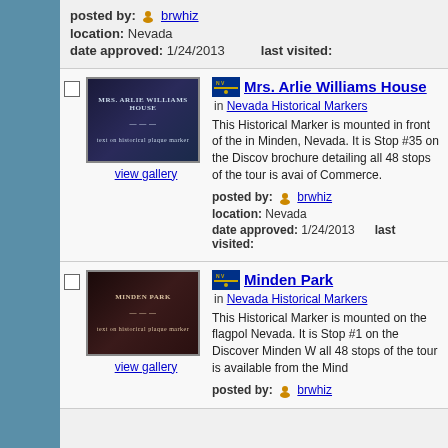posted by: brwhiz
location: Nevada
date approved: 1/24/2013   last visited:
[Figure (photo): Historical marker plaque for Mrs. Arlie Williams House, dark blue/navy background with light text]
view gallery
Mrs. Arlie Williams House
in Nevada Historical Markers
This Historical Marker is mounted in front of the in Minden, Nevada. It is Stop #35 on the Discov brochure detailing all 48 stops of the tour is avai of Commerce.
posted by: brwhiz
location: Nevada
date approved: 1/24/2013   last visited:
[Figure (photo): Historical marker plaque for Minden Park, dark reddish background with light text]
view gallery
Minden Park
in Nevada Historical Markers
This Historical Marker is mounted on the flagpol Nevada. It is Stop #1 on the Discover Minden W all 48 stops of the tour is available from the Mind
posted by: brwhiz